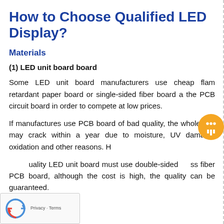How to Choose Qualified LED Display?
Materials
(1) LED unit board board
Some LED unit board manufacturers use cheap flame retardant paper board or single-sided fiber board as the PCB circuit board in order to compete at low prices.
If manufactures use PCB board of bad quality, the whole unit may crack within a year due to moisture, UV damage, oxidation and other reasons. H
uality LED unit board must use double-sided ss fiber PCB board, although the cost is high, the quality can be guaranteed.